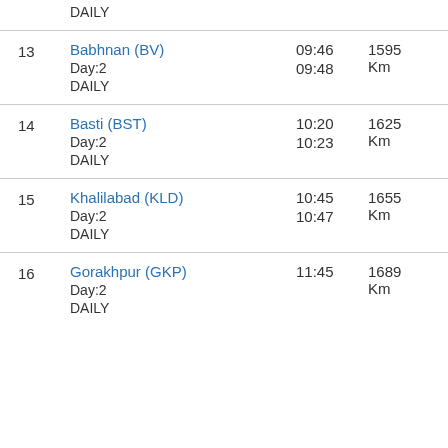| # | Station | Arrival/Departure | Distance |
| --- | --- | --- | --- |
|  | DAILY |  |  |
| 13 | Babhnan (BV)
Day:2
DAILY | 09:46
09:48 | 1595 Km |
| 14 | Basti (BST)
Day:2
DAILY | 10:20
10:23 | 1625 Km |
| 15 | Khalilabad (KLD)
Day:2
DAILY | 10:45
10:47 | 1655 Km |
| 16 | Gorakhpur (GKP)
Day:2
DAILY | 11:45 | 1689 Km |